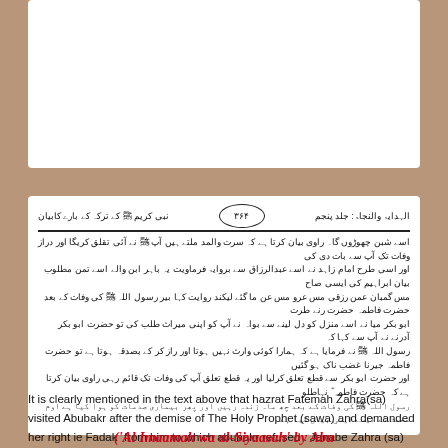[Figure (other): Top white card area - blank/partially visible previous page content]
Urdu text from Al-Imamah wa al-Siyaasah book page 364 discussing Hazrat Fatimah Zahra visiting Abubakr and demanding Fadak
It is clearly mentioned in the text above that hazrat Fatemah Zahra(sa) visited Abubakr after the demise of The Holy Prophet (sawa) and demanded her right ie Fadak from him to which abubakr refused . Janabe Zahra (sa) was angry with him and she cut off relations with him and this situation remained till her (sa) death .
('Al Imaamah wa al-Siyaasah' by Abu